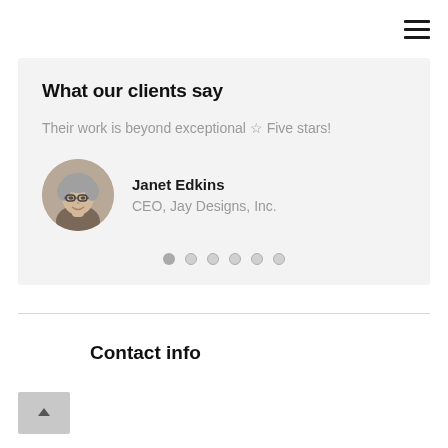≡ (hamburger menu icon)
What our clients say
Their work is beyond exceptional ★ Five stars!
[Figure (photo): Circular profile photo of Janet Edkins, a woman with short gray hair and glasses, smiling]
Janet Edkins
CEO, Jay Designs, Inc.
Contact info